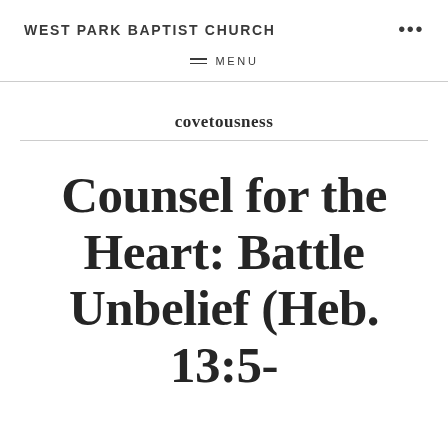WEST PARK BAPTIST CHURCH   •••
≡  MENU
covetousness
Counsel for the Heart: Battle Unbelief (Heb. 13:5-